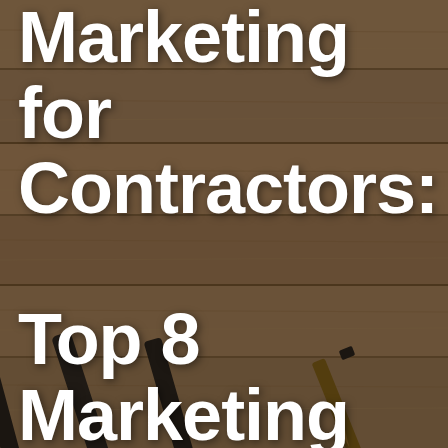[Figure (photo): Overhead photo of wooden planks/table surface with dark metal drill bits and a pencil arranged diagonally in the lower portion of the image. A dark semi-transparent overlay covers the photo. Large bold white text overlaid reads: Marketing for Contractors: Top 8 Marketing Tips for Contractors.]
Marketing for Contractors: Top 8 Marketing Tips for Contractors